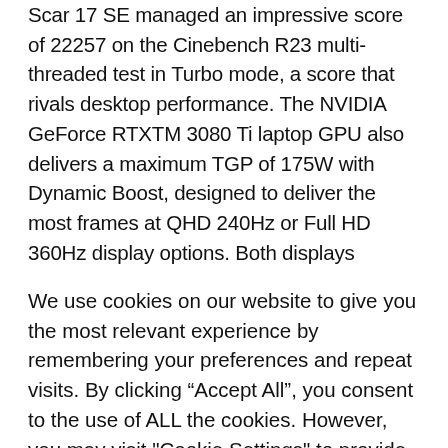Scar 17 SE managed an impressive score of 22257 on the Cinebench R23 multi-threaded test in Turbo mode, a score that rivals desktop performance. The NVIDIA GeForce RTXTM 3080 Ti laptop GPU also delivers a maximum TGP of 175W with Dynamic Boost, designed to deliver the most frames at QHD 240Hz or Full HD 360Hz display options. Both displays feature a 3ms response time, support Dolby Vision, and are compatible
We use cookies on our website to give you the most relevant experience by remembering your preferences and repeat visits. By clicking “Accept All”, you consent to the use of ALL the cookies. However, you may visit "Cookie Settings" to provide a controlled consent.
Cookie Settings | Accept All